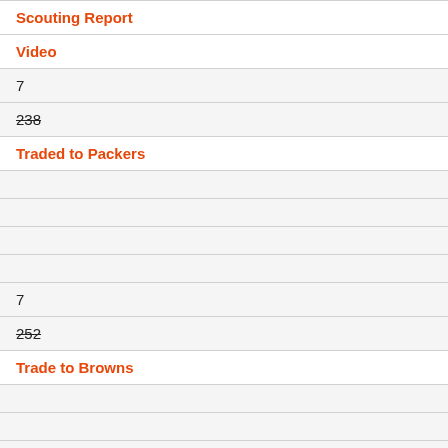| Scouting Report |
| Video |
| 7 |
| 238 (strikethrough) |
| Traded to Packers |
|  |
|  |
|  |
|  |
| 7 |
| 252 (strikethrough) |
| Trade to Browns |
|  |
|  |
|  |
|  |
| 7 |